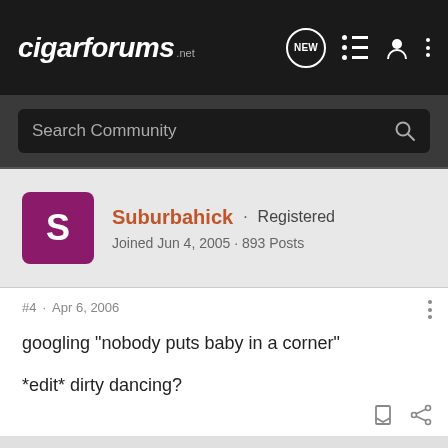cigarforums.net
Search Community
Suburbahick · Registered
Joined Jun 4, 2005 · 893 Posts
#4 · Apr 6, 2006
googling "nobody puts baby in a corner"

*edit* dirty dancing?